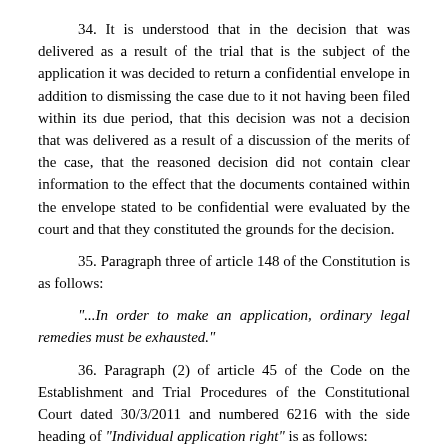34. It is understood that in the decision that was delivered as a result of the trial that is the subject of the application it was decided to return a confidential envelope in addition to dismissing the case due to it not having been filed within its due period, that this decision was not a decision that was delivered as a result of a discussion of the merits of the case, that the reasoned decision did not contain clear information to the effect that the documents contained within the envelope stated to be confidential were evaluated by the court and that they constituted the grounds for the decision.
35. Paragraph three of article 148 of the Constitution is as follows:
"...In order to make an application, ordinary legal remedies must be exhausted."
36. Paragraph (2) of article 45 of the Code on the Establishment and Trial Procedures of the Constitutional Court dated 30/3/2011 and numbered 6216 with the side heading of "Individual application right" is as follows: